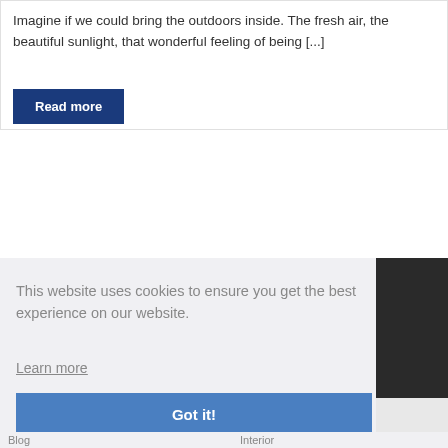Imagine if we could bring the outdoors inside. The fresh air, the beautiful sunlight, that wonderful feeling of being [...]
Read more
This website uses cookies to ensure you get the best experience on our website.
Learn more
Got it!
Blog   Interior